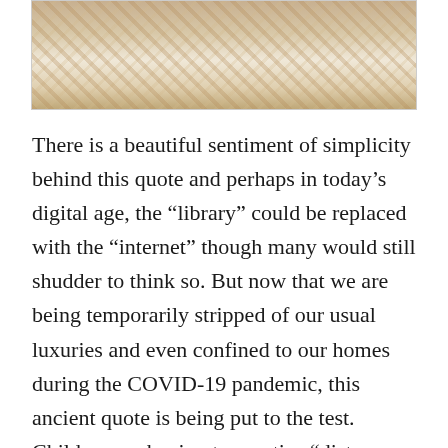[Figure (photo): Partial photograph showing what appears to be rocky or baked/food texture surface, cropped at the top of the page]
There is a beautiful sentiment of simplicity behind this quote and perhaps in today’s digital age, the “library” could be replaced with the “internet” though many would still shudder to think so. But now that we are being temporarily stripped of our usual luxuries and even confined to our homes during the COVID-19 pandemic, this ancient quote is being put to the test. Children are having to practice “distance learning” since attending school is not an option and parents who didn’t ever plan to homeschool are struggling to figure out how to ensure their children stay on the educational path